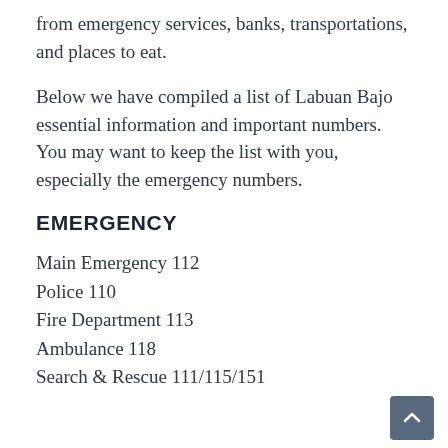from emergency services, banks, transportations, and places to eat.
Below we have compiled a list of Labuan Bajo essential information and important numbers. You may want to keep the list with you, especially the emergency numbers.
EMERGENCY
Main Emergency 112
Police 110
Fire Department 113
Ambulance 118
Search & Rescue 111/115/151